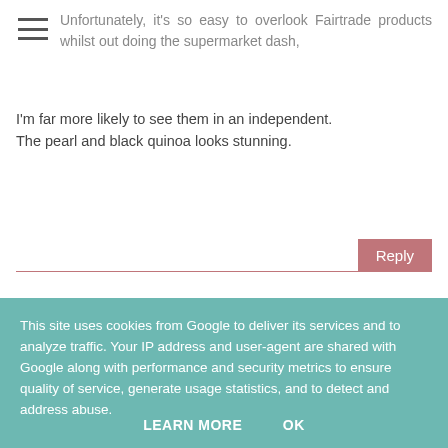Unfortunately, it's so easy to overlook Fairtrade products whilst out doing the supermarket dash, I'm far more likely to see them in an independent. The pearl and black quinoa looks stunning.
Reply
Foodie Quine
2 March 2015 at 19:12
Totally agree, so much going on in your head whilst at the supermarket. I'm good
This site uses cookies from Google to deliver its services and to analyze traffic. Your IP address and user-agent are shared with Google along with performance and security metrics to ensure quality of service, generate usage statistics, and to detect and address abuse.
LEARN MORE   OK